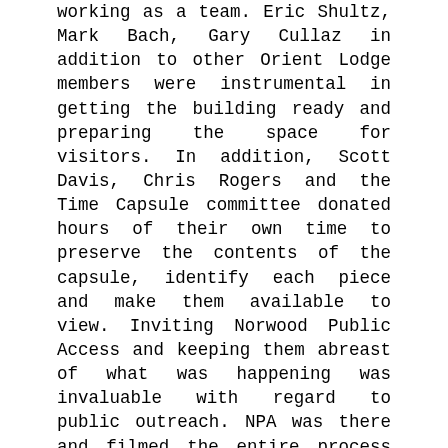working as a team. Eric Shultz, Mark Bach, Gary Cullaz in addition to other Orient Lodge members were instrumental in getting the building ready and preparing the space for visitors. In addition, Scott Davis, Chris Rogers and the Time Capsule committee donated hours of their own time to preserve the contents of the capsule, identify each piece and make them available to view. Inviting Norwood Public Access and keeping them abreast of what was happening was invaluable with regard to public outreach. NPA was there and filmed the entire process of opening the smaller capsule and interviewing members. In addition, the committee has scheduled upcoming dates to display the items at other locations like Norwood Public Library in January for the public to see (stay tuned for that event).
Also the hard work of Warren Pick, Bob and...